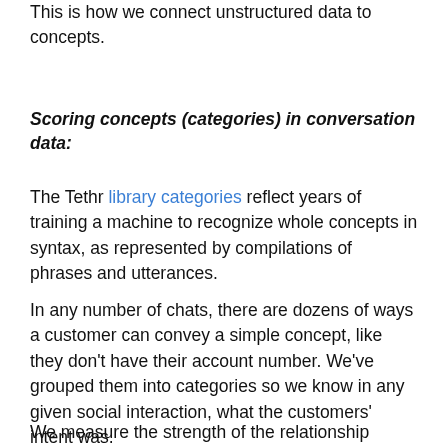This is how we connect unstructured data to concepts.
Scoring concepts (categories) in conversation data:
The Tethr library categories reflect years of training a machine to recognize whole concepts in syntax, as represented by compilations of phrases and utterances.
In any number of chats, there are dozens of ways a customer can convey a simple concept, like they don’t have their account number. We’ve grouped them into categories so we know in any given social interaction, what the customers’ intent was.
We measure the strength of the relationship